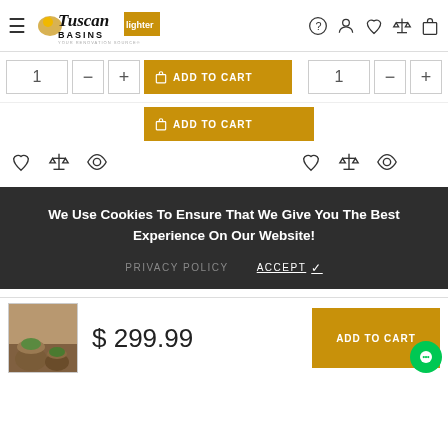[Figure (screenshot): Tuscan Basins website header with logo, navigation icons (help, user, wishlist, compare, cart), hamburger menu]
[Figure (screenshot): Two product quantity selectors with minus and plus buttons and two Add To Cart buttons in gold/amber color]
[Figure (screenshot): Action icon rows showing heart/wishlist, compare scales, and eye/view icons for two products]
[Figure (screenshot): Cookie consent banner: 'We Use Cookies To Ensure That We Give You The Best Experience On Our Website!' with PRIVACY POLICY and ACCEPT links]
[Figure (screenshot): Sticky bottom bar with product thumbnail image of terracotta pots, price $299.99, and ADD TO CART button, plus green chat bubble]